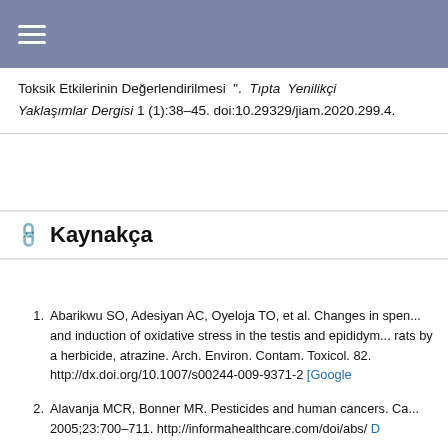Toksik Etkilerinin Değerlendirilmesi ". Tıpta Yenilikçi Yaklaşımlar Dergisi 1 (1):38-45. doi:10.29329/jiam.2020.299.4.
Kaynakça
Abarikwu SO, Adesiyan AC, Oyeloja TO, et al. Changes in sper... and induction of oxidative stress in the testis and epididym... rats by a herbicide, atrazine. Arch. Environ. Contam. Toxicol. 82. http://dx.doi.org/10.1007/s00244-009-9371-2 [Google...
Alavanja MCR, Bonner MR. Pesticides and human cancers. Ca... 2005;23:700–711. http://informahealthcare.com/doi/abs/ D...
Arbuckle TE, Lin Z, Mery LS. An Exploratory Analysis of the Ef... Exposure on the Risk of Spontaneous Abortion in an Ontari...